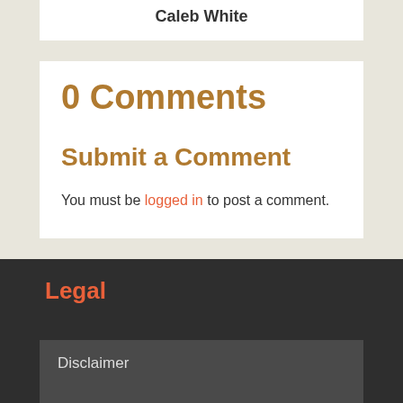Caleb White
0 Comments
Submit a Comment
You must be logged in to post a comment.
Legal
Disclaimer